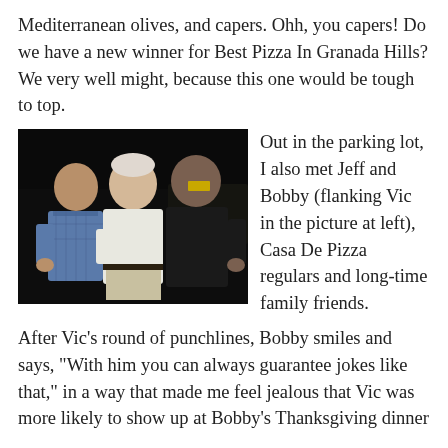Mediterranean olives, and capers. Ohh, you capers! Do we have a new winner for Best Pizza In Granada Hills? We very well might, because this one would be tough to top.
[Figure (photo): Three men posing together in a dark parking lot at night. The man on the left wears a blue plaid shirt, the man in the center is older and wears a white shirt, and the man on the right wears a black t-shirt.]
Out in the parking lot, I also met Jeff and Bobby (flanking Vic in the picture at left), Casa De Pizza regulars and long-time family friends. After Vic's round of punchlines, Bobby smiles and says, "With him you can always guarantee jokes like that," in a way that made me feel jealous that Vic was more likely to show up at Bobby's Thanksgiving dinner